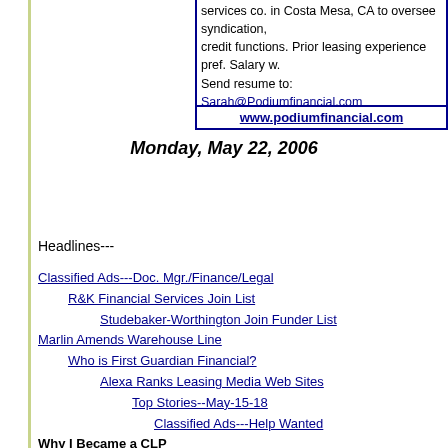operations manager for growing equipment/leasing services co. in Costa Mesa, CA to oversee syndication, credit functions. Prior leasing experience pref. Salary w. Send resume to: Sarah@Podiumfinancial.com
www.podiumfinancial.com
Monday, May 22, 2006
Headlines---
Classified Ads---Doc. Mgr./Finance/Legal
R&K Financial Services Join List
Studebaker-Worthington Join Funder List
Marlin Amends Warehouse Line
Who is First Guardian Financial?
Alexa Ranks Leasing Media Web Sites
Top Stories--May-15-18
Classified Ads---Help Wanted
Why I Became a CLP
Part 3---"NAELB Legal Counsel"
Shawn Halladay in China
Leasing Association Meetings-Events
Leasing Schools/Franchisors
Fitch Affirms Citigroup at 'AA+'
Foreclosures Up 72% from Last Year